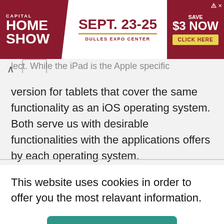[Figure (screenshot): Capital Home Show advertisement banner: red background with white text 'CAPITAL HOME SHOW', 'SEPT. 23-25', 'DULLES EXPO CENTER', 'SAVE $3 NOW', yellow 'CLICK HERE' button]
version for tablets that cover the same functionality as an iOS operating system. Both serve us with desirable functionalities with the applications offers by each operating system.
This website uses cookies in order to offer you the most relavant information.
I understand